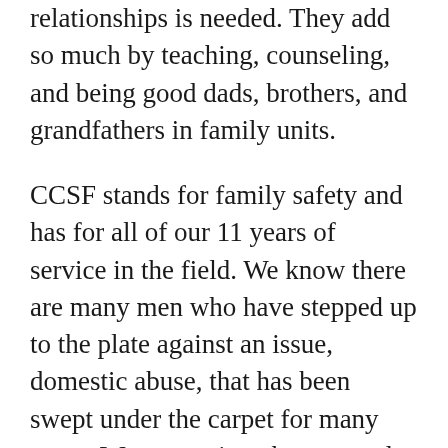relationships is needed. They add so much by teaching, counseling, and being good dads, brothers, and grandfathers in family units.
CCSF stands for family safety and has for all of our 11 years of service in the field. We know there are many men who have stepped up to the plate against an issue, domestic abuse, that has been swept under the carpet for many years. We are seeing changes and awareness in the culture at large!